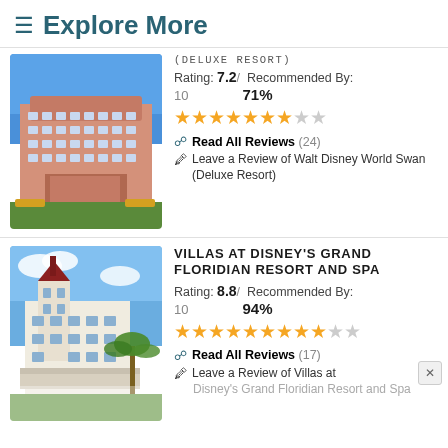≡ Explore More
[Figure (photo): Photo of Walt Disney World Swan hotel building with pink exterior and blue sky]
(DELUXE RESORT) Rating: 7.2 / 10  Recommended By: 71%
[Figure (other): Star rating: 7 filled gold stars, 1 partial, 2 empty]
Read All Reviews (24)
Leave a Review of Walt Disney World Swan (Deluxe Resort)
[Figure (photo): Photo of Villas at Disney's Grand Floridian Resort and Spa white Victorian-style building with blue sky and palm trees]
VILLAS AT DISNEY'S GRAND FLORIDIAN RESORT AND SPA Rating: 8.8 / 10  Recommended By: 94%
[Figure (other): Star rating: 9 filled gold stars, 1 partial, 1 empty]
Read All Reviews (17)
Leave a Review of Villas at Disney's Grand Floridian Resort and Spa